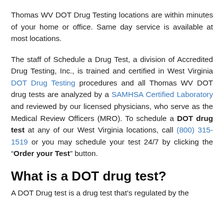Thomas WV DOT Drug Testing locations are within minutes of your home or office. Same day service is available at most locations.
The staff of Schedule a Drug Test, a division of Accredited Drug Testing, Inc., is trained and certified in West Virginia DOT Drug Testing procedures and all Thomas WV DOT drug tests are analyzed by a SAMHSA Certified Laboratory and reviewed by our licensed physicians, who serve as the Medical Review Officers (MRO). To schedule a DOT drug test at any of our West Virginia locations, call (800) 315-1519 or you may schedule your test 24/7 by clicking the “Order your Test” button.
What is a DOT drug test?
A DOT Drug test is a drug test that’s regulated by the